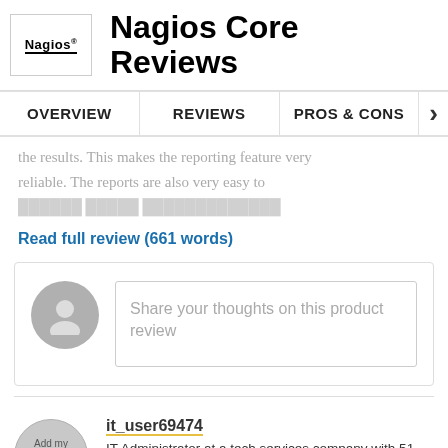Nagios Core Reviews
OVERVIEW | REVIEWS | PROS & CONS
the results. This makes the reporting feature very reliable. The reports are also very easy to
Read full review (661 words)
Share your thoughts on this product review
it_user69474
IT Administrator at a tech services company with 51-200 employees